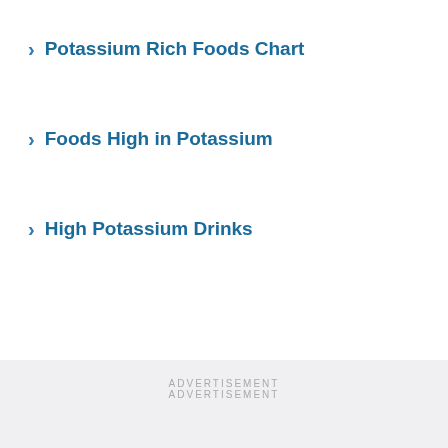Potassium Rich Foods Chart
Foods High in Potassium
High Potassium Drinks
ADVERTISEMENT
ADVERTISEMENT